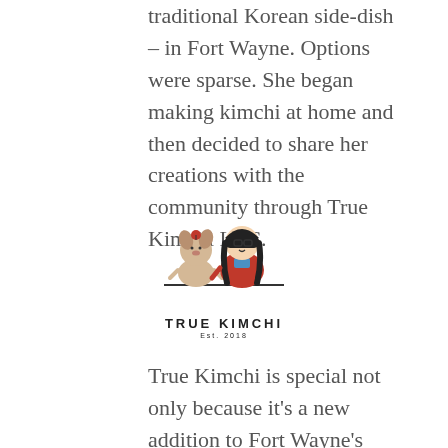traditional Korean side-dish – in Fort Wayne. Options were sparse. She began making kimchi at home and then decided to share her creations with the community through True Kimchi LLC.
[Figure (logo): True Kimchi LLC logo: cartoon illustration of two characters (a small dog-like figure and a woman with long black hair wearing a blue hanbok) standing together, with 'TRUE KIMCHI' in bold lettering and 'Est. 2018' below.]
True Kimchi is special not only because it's a new addition to Fort Wayne's food scene, but also because it's both vegan